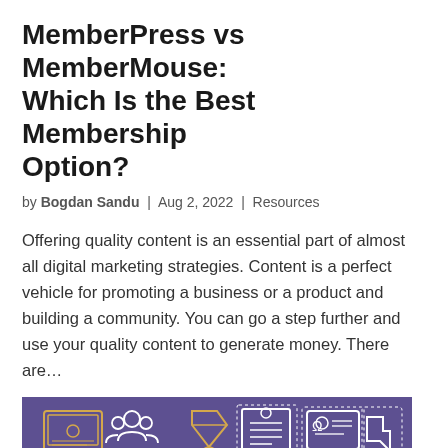MemberPress vs MemberMouse: Which Is the Best Membership Option?
by Bogdan Sandu | Aug 2, 2022 | Resources
Offering quality content is an essential part of almost all digital marketing strategies. Content is a perfect vehicle for promoting a business or a product and building a community. You can go a step further and use your quality content to generate money. There are…
[Figure (illustration): Purple banner image with white line-art icons (laptop, group of people, diamond, document, ID card, hand pointer) above large cyan bold italic text reading MEMBERSHIP on a purple/violet background.]